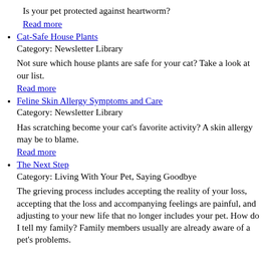Is your pet protected against heartworm?
Read more
Cat-Safe House Plants
Category: Newsletter Library

Not sure which house plants are safe for your cat? Take a look at our list.

Read more
Feline Skin Allergy Symptoms and Care
Category: Newsletter Library

Has scratching become your cat's favorite activity? A skin allergy may be to blame.

Read more
The Next Step
Category: Living With Your Pet, Saying Goodbye

The grieving process includes accepting the reality of your loss, accepting that the loss and accompanying feelings are painful, and adjusting to your new life that no longer includes your pet. How do I tell my family? Family members usually are already aware of a pet's problems.